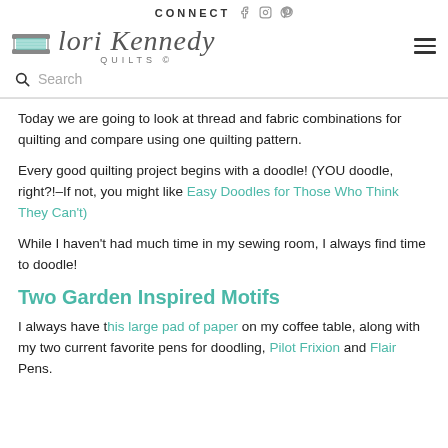CONNECT (social icons: Facebook, Instagram, Pinterest)
[Figure (logo): Lori Kennedy Quilts logo with spool icon and script text]
Search
Today we are going to look at thread and fabric combinations for quilting and compare using one quilting pattern.
Every good quilting project begins with a doodle! (YOU doodle, right?!–If not, you might like Easy Doodles for Those Who Think They Can't)
While I haven't had much time in my sewing room, I always find time to doodle!
Two Garden Inspired Motifs
I always have this large pad of paper on my coffee table, along with my two current favorite pens for doodling, Pilot Frixion and Flair Pens.